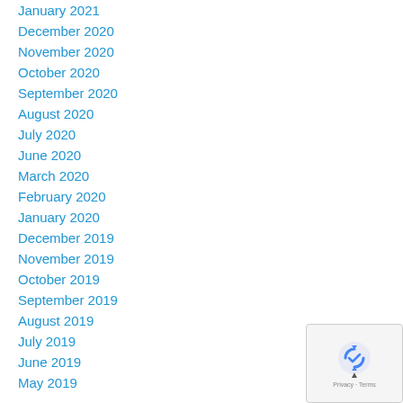January 2021
December 2020
November 2020
October 2020
September 2020
August 2020
July 2020
June 2020
March 2020
February 2020
January 2020
December 2019
November 2019
October 2019
September 2019
August 2019
July 2019
June 2019
May 2019